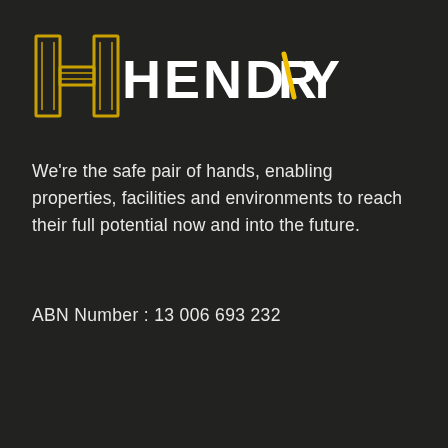[Figure (logo): Hendry company logo: a stylized H icon in yellow/gold outline on dark background, followed by the text HENDRY in white capital letters with a yellow diagonal slash through the R]
We're the safe pair of hands, enabling properties, facilities and environments to reach their full potential now and into the future.
ABN Number : 13 006 693 232